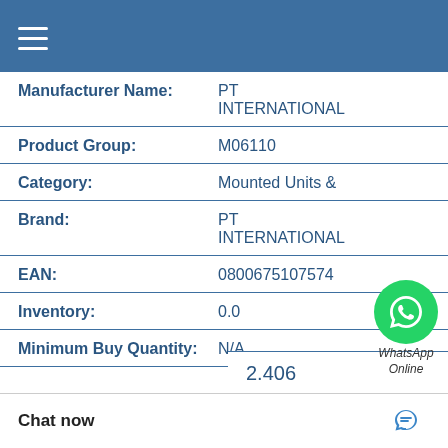Menu
| Field | Value |
| --- | --- |
| Manufacturer Name: | PT INTERNATIONAL |
| Product Group: | M06110 |
| Category: | Mounted Units & |
| Brand: | PT INTERNATIONAL |
| EAN: | 0800675107574 |
| Inventory: | 0.0 |
| Minimum Buy Quantity: | N/A |
[Figure (logo): WhatsApp green circle logo with phone icon and text 'WhatsApp Online']
2.406
Chat now